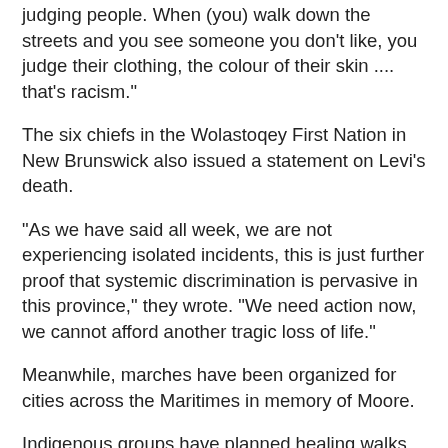judging people. When (you) walk down the streets and you see someone you don't like, you judge their clothing, the colour of their skin .... that's racism."
The six chiefs in the Wolastoqey First Nation in New Brunswick also issued a statement on Levi's death.
"As we have said all week, we are not experiencing isolated incidents, this is just further proof that systemic discrimination is pervasive in this province," they wrote. "We need action now, we cannot afford another tragic loss of life."
Meanwhile, marches have been organized for cities across the Maritimes in memory of Moore.
Indigenous groups have planned healing walks to take place simultaneously in Edmundston, Fredericton and Moncton, N.B., as well as Halifax and Membertou, N.S.
About 500 marchers arrived at a Halifax police station to